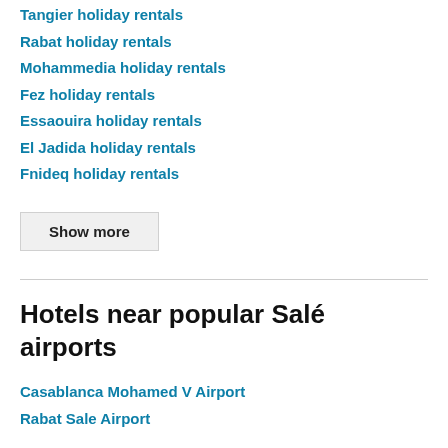Tangier holiday rentals
Rabat holiday rentals
Mohammedia holiday rentals
Fez holiday rentals
Essaouira holiday rentals
El Jadida holiday rentals
Fnideq holiday rentals
Show more
Hotels near popular Salé airports
Casablanca Mohamed V Airport
Rabat Sale Airport
About Salé